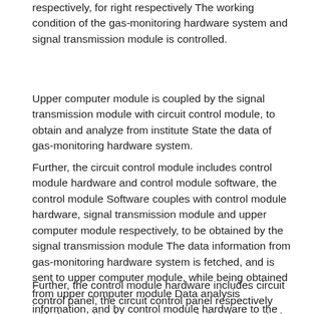respectively, for right respectively The working condition of the gas-monitoring hardware system and signal transmission module is controlled.
Upper computer module is coupled by the signal transmission module with circuit control module, to obtain and analyze from institute State the data of gas-monitoring hardware system.
Further, the circuit control module includes control module hardware and control module software, the control module Software couples with control module hardware, signal transmission module and upper computer module respectively, to be obtained by the signal transmission module The data information from gas-monitoring hardware system is fetched, and is sent to upper computer module, while being obtained from upper computer module Data analysis information, and by control module hardware to the working condition of the gas-monitoring hardware system and signal transmission module It is controlled.
Further, the control module hardware includes circuit control panel, the circuit control panel respectively with the gas Hardware system and signal transmission module